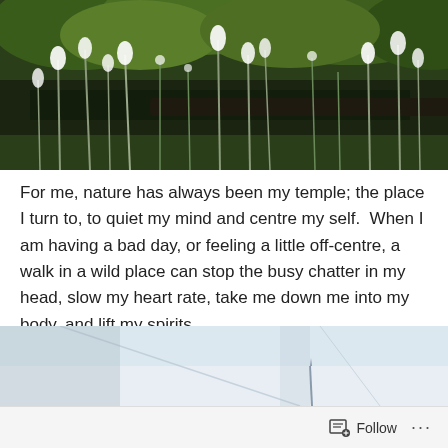[Figure (photo): Nature photograph showing a dark stream or river bordered by white wildflowers and tall grasses in the foreground, with dense green trees and shrubs in the background.]
For me, nature has always been my temple; the place I turn to, to quiet my mind and centre my self.  When I am having a bad day, or feeling a little off-centre, a walk in a wild place can stop the busy chatter in my head, slow my heart rate, take me down me into my body, and lift my spirits.
[Figure (photo): Partial nature photograph visible at the bottom of the page, showing a light blue sky with some abstract line shapes, cropped.]
Follow ...